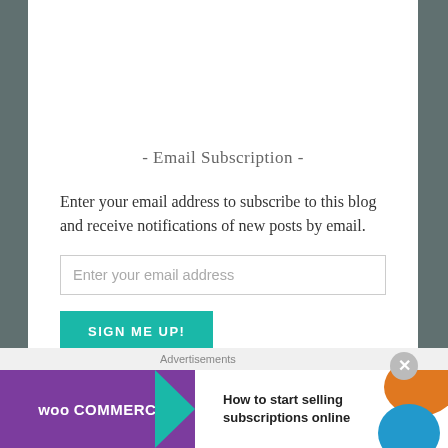- Email Subscription -
Enter your email address to subscribe to this blog and receive notifications of new posts by email.
[Figure (other): Email input text field with placeholder 'Enter your email address']
[Figure (other): Teal 'SIGN ME UP!' button]
Join 59 other followers
Advertisements
[Figure (other): WooCommerce advertisement banner: 'How to start selling subscriptions online']